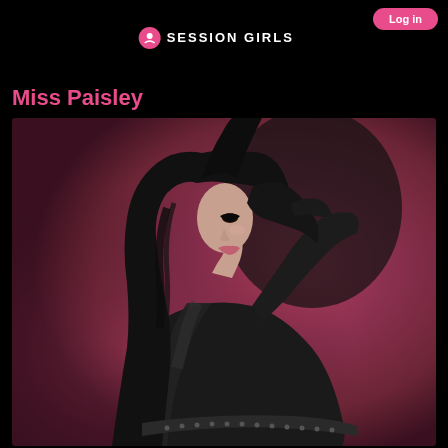SESSION GIRLS
Miss Paisley
[Figure (photo): Portrait photo of Miss Paisley, a woman with long dark hair in a black sheer outfit, posed against a dark rose/burgundy background, looking over her shoulder toward the camera.]